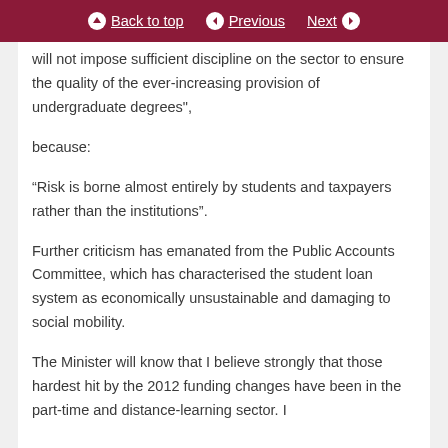Back to top | Previous | Next
will not impose sufficient discipline on the sector to ensure the quality of the ever-increasing provision of undergraduate degrees”,
because:
“Risk is borne almost entirely by students and taxpayers rather than the institutions”.
Further criticism has emanated from the Public Accounts Committee, which has characterised the student loan system as economically unsustainable and damaging to social mobility.
The Minister will know that I believe strongly that those hardest hit by the 2012 funding changes have been in the part-time and distance-learning sector. I